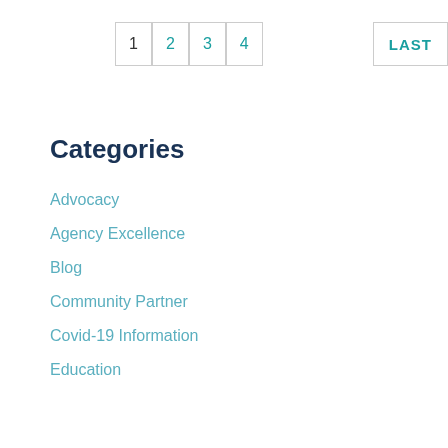1 2 3 4 LAST
Categories
Advocacy
Agency Excellence
Blog
Community Partner
Covid-19 Information
Education